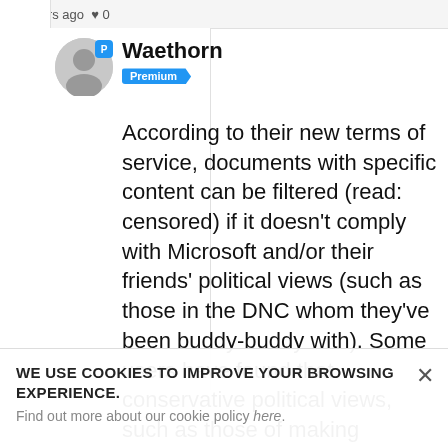4 years ago ♥ 0
[Figure (illustration): User avatar circle (gray) with blue 'P' badge indicating Premium status]
Waethorn
Premium
According to their new terms of service, documents with specific content can be filtered (read: censored) if it doesn't comply with Microsoft and/or their friends' political views (such as those in the DNC whom they've been buddy-buddy with). Some users have found that conservative political views, such as those of making government smaller or to criticize hypocrisy over liberal
WE USE COOKIES TO IMPROVE YOUR BROWSING EXPERIENCE.
Find out more about our cookie policy here.